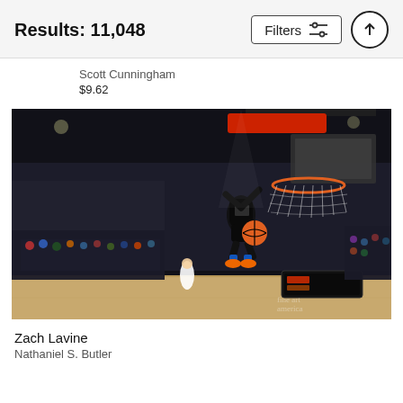Results: 11,048
Scott Cunningham
$9.62
[Figure (photo): NBA basketball player performing a dunk in a packed arena, photographed from below with the basket visible above. The player is mid-air wearing a dark uniform with orange sneakers and blue accents. Arena crowd visible in background. Staples Center arena. Fine Art America watermark visible in bottom right.]
Zach Lavine
Nathaniel S. Butler